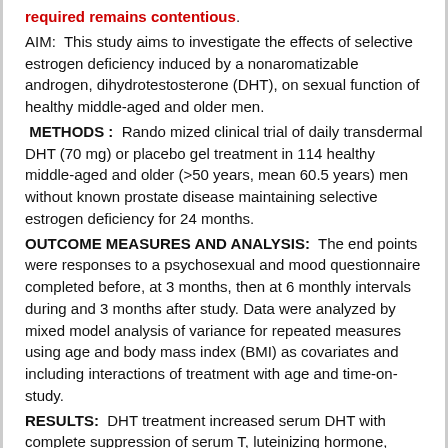required remains contentious.
AIM:  This study aims to investigate the effects of selective estrogen deficiency induced by a nonaromatizable androgen, dihydrotestosterone (DHT), on sexual function of healthy middle-aged and older men.
METHODS :  Randomized clinical trial of daily transdermal DHT (70 mg) or placebo gel treatment in 114 healthy middle-aged and older (>50 years, mean 60.5 years) men without known prostate disease maintaining selective estrogen deficiency for 24 months.
OUTCOME MEASURES AND ANALYSIS:  The end points were responses to a psychosexual and mood questionnaire completed before, at 3 months, then at 6 monthly intervals during and 3 months after study. Data were analyzed by mixed model analysis of variance for repeated measures using age and body mass index (BMI) as covariates and including interactions of treatment with age and time-on-study.
RESULTS:  DHT treatment increased serum DHT with complete suppression of serum T, luteinizing hormone, follicle stimulating hormone, and estradiol throughout the 24-month study resulting in reduced spinal bone density. There were no spontaneous complaints, or discontinuations for, adverse effects on sexual function during the study. DHT administration had no effects on any of 33 measures of sexual function and mood, apart from a mild, but